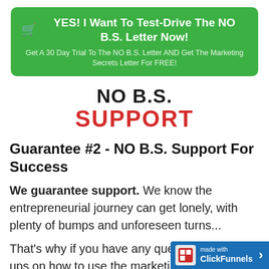[Figure (infographic): Green call-to-action button with shopping cart icon, headline 'YES! I Want To Test-Drive The NO B.S. Letter Now!' and subtext 'Get A 30 Day Trial To The NO B.S. Letter AND Get The Marketing Secrets Letter For FREE!']
[Figure (logo): NO B.S. SUPPORT logo with 'NO B.S.' in black bold and 'SUPPORT' in red bold large text]
Guarantee #2 - NO B.S. Support For Success
We guarantee support. We know the entrepreneurial journey can get lonely, with plenty of bumps and unforeseen turns...
That's why if you have any questions or hang-ups on how to use the marketing material in your business, or need help with...